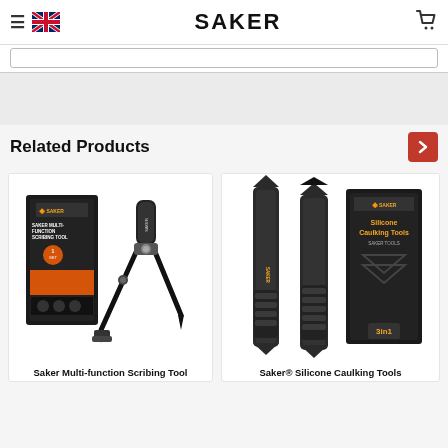SAKER
Related Products
[Figure (photo): Saker Multi-function Scribing Tool product photo showing the tool and its packaging box]
Saker Multi-function Scribing Tool
[Figure (photo): Saker® Silicone Caulking Tools product photo showing 3-in-1 silicone tools and packaging box]
Saker® Silicone Caulking Tools